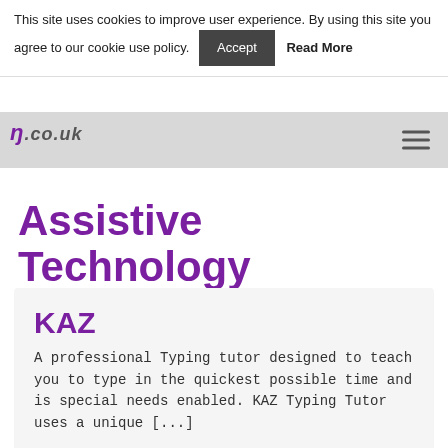This site uses cookies to improve user experience. By using this site you agree to our cookie use policy. Accept Read More
[Figure (logo): Partial logo showing italic text '.co.uk' in dark color on white background]
Navigation bar with hamburger menu icon
Assistive Technology
KAZ
A professional Typing tutor designed to teach you to type in the quickest possible time and is special needs enabled. KAZ Typing Tutor uses a unique [...]